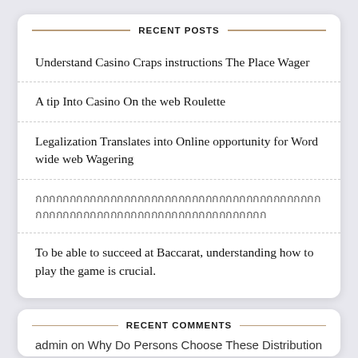RECENT POSTS
Understand Casino Craps instructions The Place Wager
A tip Into Casino On the web Roulette
Legalization Translates into Online opportunity for Word wide web Wagering
กกกกกกกกกกกกกกกกกกกกกกกกกกกกกกกกกกกกกกกกกกกกกกกกกกกกกกกกกกกกกกกกกกกกกกกกกกกก
To be able to succeed at Baccarat, understanding how to play the game is crucial.
RECENT COMMENTS
admin on Why Do Persons Choose These Distribution